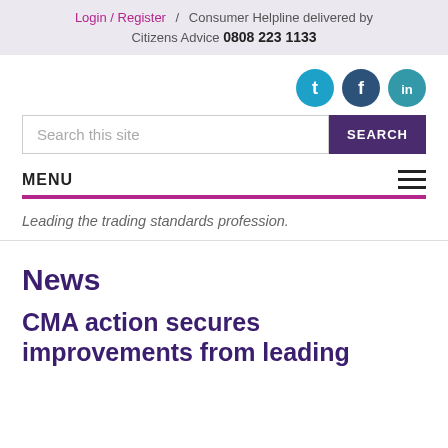Login / Register  /  Consumer Helpline delivered by Citizens Advice 0808 223 1133
[Figure (illustration): Social media icons: Twitter (cyan), Facebook (dark blue), LinkedIn (teal)]
Search this site
MENU
Leading the trading standards profession.
News
CMA action secures improvements from leading